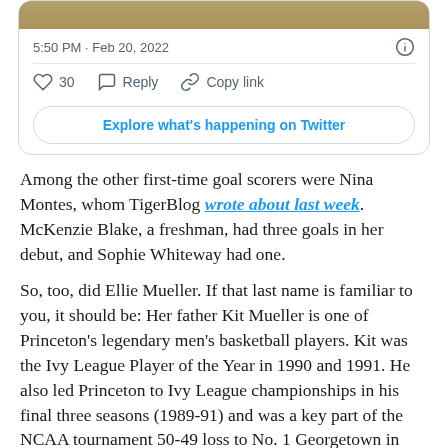[Figure (screenshot): Twitter/X card showing timestamp 5:50 PM · Feb 20, 2022, like count of 30, Reply and Copy link actions, and an 'Explore what's happening on Twitter' button]
Among the other first-time goal scorers were Nina Montes, whom TigerBlog wrote about last week. McKenzie Blake, a freshman, had three goals in her debut, and Sophie Whiteway had one.
So, too, did Ellie Mueller. If that last name is familiar to you, it should be: Her father Kit Mueller is one of Princeton's legendary men's basketball players. Kit was the Ivy League Player of the Year in 1990 and 1991. He also led Princeton to Ivy League championships in his final three seasons (1989-91) and was a key part of the NCAA tournament 50-49 loss to No. 1 Georgetown in 1989 (and maybe he got fouled at the end).
Kit Mueller is also one of the first Princeton athletes about whom TB wrote (but not the very first; that was a different Princeton center, current head football coach Bob Surace, back in 1989).